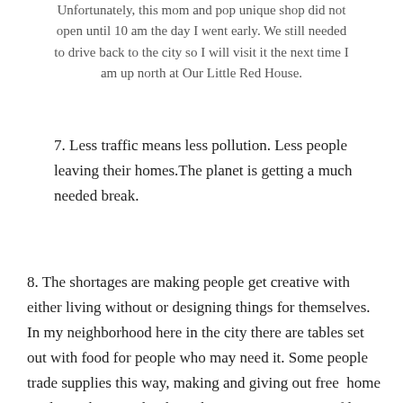Unfortunately, this mom and pop unique shop did not open until 10 am the day I went early. We still needed to drive back to the city so I will visit it the next time I am up north at Our Little Red House.
7. Less traffic means less pollution. Less people leaving their homes.The planet is getting a much needed break.
8. The shortages are making people get creative with either living without or designing things for themselves. In my neighborhood here in the city there are tables set out with food for people who may need it. Some people trade supplies this way, making and giving out free home made masks to each other. They are using vacuum filters, and other things to add to the